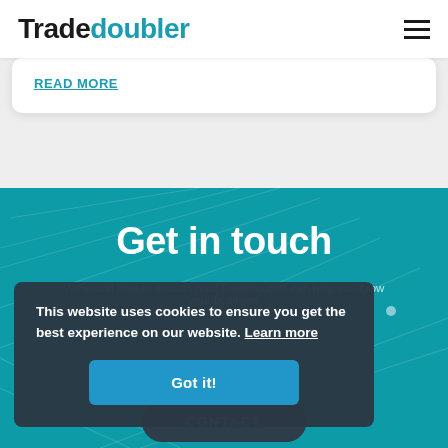Tradedoubler
READ MORE
Get in touch
We would love to discuss how Tradedoubler can help you grow your business
This website uses cookies to ensure you get the best experience on our website. Learn more
Got it!
CONTACT